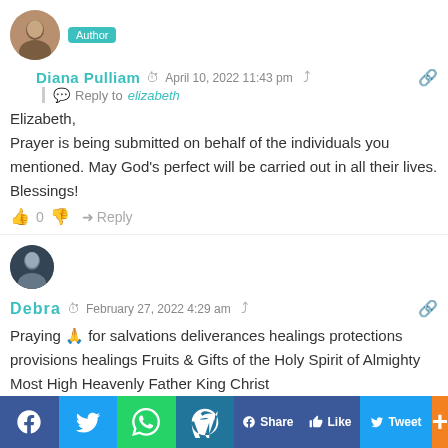[Figure (photo): Circular avatar photo of Diana Pulliam, a woman with dark hair, with a teal 'Author' badge next to it]
Diana Pulliam  April 10, 2022 11:43 pm
Reply to elizabeth
Elizabeth,
Prayer is being submitted on behalf of the individuals you mentioned. May God's perfect will be carried out in all their lives.
Blessings!
0  Reply
[Figure (photo): Circular avatar photo of Debra, a woman with dark hair]
Debra  February 27, 2022 4:29 am
Praying 🙏 for salvations deliverances healings protections provisions healings Fruits & Gifts of the Holy Spirit of Almighty Most High Heavenly Father King Christ ... families, mother's families, brothers and sisters and the nations all over the world May 🙏 ...
[Figure (screenshot): Social share bar at bottom with Facebook, Twitter, WhatsApp, WordPress icons and Share/Like/Tweet/Plus buttons]